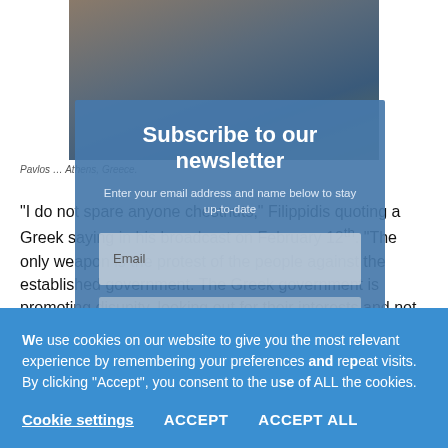[Figure (photo): Background photo of a person, partially obscured by overlays]
Pavlos … Athens, Greece.
“I do not spare anyone chestnuts,” Filippidis quoting a Greek saying in his broadcast on February 12th. “The only weapon is the protest of the people against the established government. The Greek government is promoting disunity, looking out for their interests and not the interests of the people. FYROM can not get a national
[Figure (screenshot): Newsletter subscription modal overlay with title 'Subscribe to our newsletter', subtitle text, email input field, and sign up button]
We use cookies on our website to give you the most relevant experience by remembering your preferences and repeat visits. By clicking “Accept”, you consent to the use of ALL the cookies.
Cookie settings
ACCEPT
ACCEPT ALL